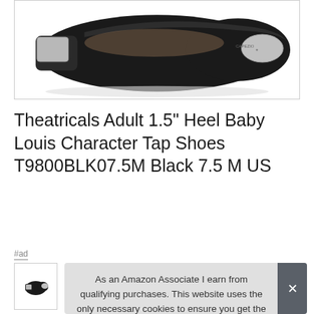[Figure (photo): Bottom view of black tap dance shoes with metal taps, showing the sole and heel detail against a white background]
Theatricals Adult 1.5" Heel Baby Louis Character Tap Shoes T9800BLK07.5M Black 7.5 M US
#ad
[Figure (photo): Small thumbnail of black tap shoe]
As an Amazon Associate I earn from qualifying purchases. This website uses the only necessary cookies to ensure you get the best experience on our website. More information